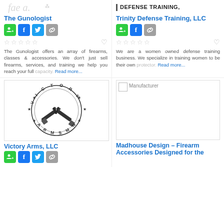[Figure (logo): The Gunologist logo (partial, top-left)]
The Gunologist
Social/share icons: user-add (green), Facebook (blue), Twitter (blue), link (gray)
5 empty stars, heart icon
The Gunologist offers an array of firearms, classes & accessories. We don't just sell firearms, services, and training we help you reach your full capacity. Read more...
[Figure (logo): DEFENSE TRAINING, text with vertical bar — Trinity Defense Training partial logo]
Trinity Defense Training, LLC
Social/share icons: user-add (green), Facebook (blue), link (gray)
5 empty stars, heart icon
We are a women owned defense training business. We specialize in training women to be their own protector. Read more...
[Figure (logo): Victory Arms MN circular logo with crossed pistols]
Victory Arms, LLC
Social/share icons: user-add (green), Facebook (blue), Twitter (blue), link (gray)
[Figure (illustration): Manufacturer placeholder image with broken image icon]
Madhouse Design – Firearm Accessories Designed for the